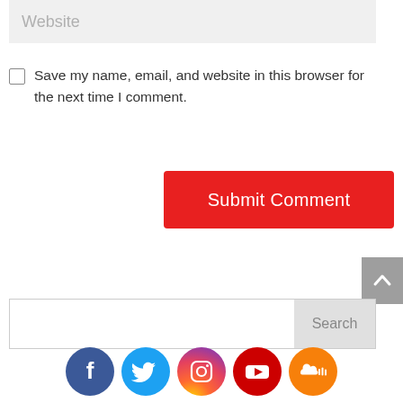Website
Save my name, email, and website in this browser for the next time I comment.
Submit Comment
Search
[Figure (infographic): Social media icons row: Facebook, Twitter, Instagram, YouTube, SoundCloud]